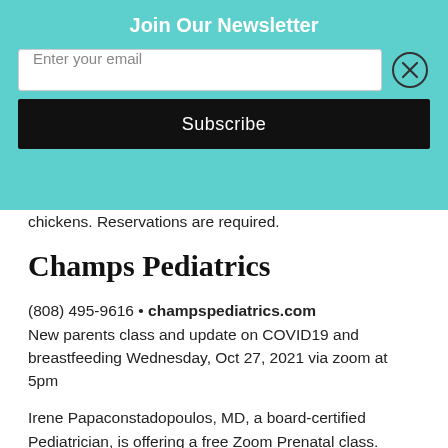Join Our Newsletter
chickens. Reservations are required.
Champs Pediatrics
(808) 495-9616 • champspediatrics.com
New parents class and update on COVID19 and breastfeeding Wednesday, Oct 27, 2021 via zoom at 5pm
Irene Papaconstadopoulos, MD, a board-certified Pediatrician, is offering a free Zoom Prenatal class. Topics: COVID19 and breastfeeding, what you need to know about the first days with your baby. Registration: www.champspediatrics.com